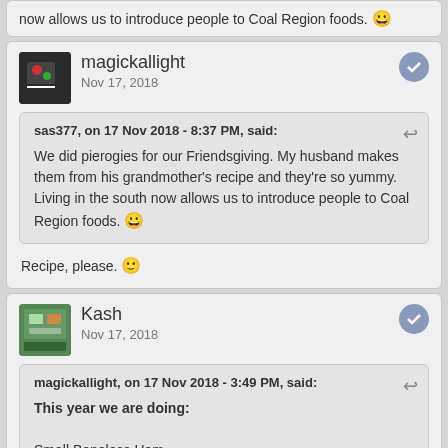now allows us to introduce people to Coal Region foods. 😀
magickallight
Nov 17, 2018
sas377, on 17 Nov 2018 - 8:37 PM, said:
We did pierogies for our Friendsgiving. My husband makes them from his grandmother's recipe and they're so yummy. Living in the south now allows us to introduce people to Coal Region foods. 😀
Recipe, please. 🙂
Kash
Nov 17, 2018
magickallight, on 17 Nov 2018 - 3:49 PM, said:
This year we are doing:

Small Boneless Ham